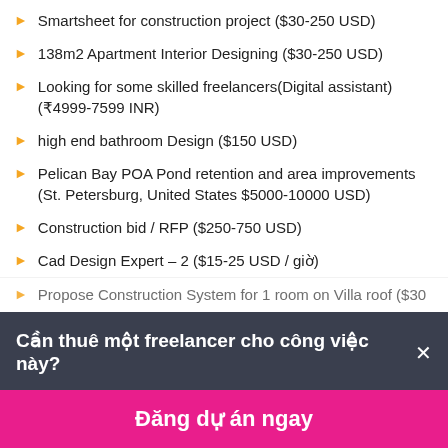Smartsheet for construction project ($30-250 USD)
138m2 Apartment Interior Designing ($30-250 USD)
Looking for some skilled freelancers(Digital assistant) (₹4999-7599 INR)
high end bathroom Design ($150 USD)
Pelican Bay POA Pond retention and area improvements (St. Petersburg, United States $5000-10000 USD)
Construction bid / RFP ($250-750 USD)
Cad Design Expert – 2 ($15-25 USD / giờ)
Propose Construction System for 1 room on Villa roof ($30...
Cần thuê một freelancer cho công việc này? ×
Đăng dự án ngay